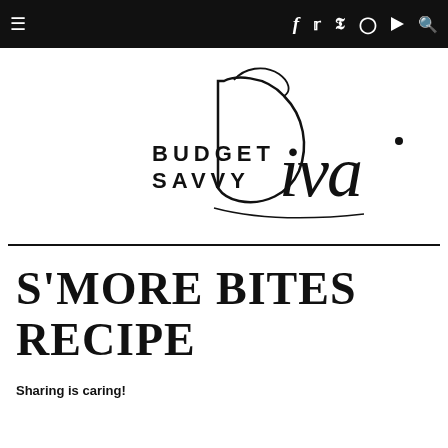Budget Savvy Diva — Navigation bar with menu, social icons (Facebook, Twitter, Pinterest, Instagram, YouTube, Search)
[Figure (logo): Budget Savvy Diva logo — stylized script 'Diva' with serif 'BUDGET SAVVY' text]
S'MORE BITES RECIPE
Sharing is caring!